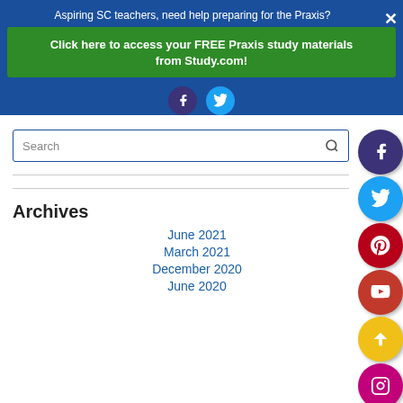Aspiring SC teachers, need help preparing for the Praxis?
Click here to access your FREE Praxis study materials from Study.com!
[Figure (other): Facebook and Twitter social media icon circles in header banner]
[Figure (other): Search input field with magnifying glass icon]
Archives
June 2021
March 2021
December 2020
June 2020
[Figure (other): Right side social media floating icons: Facebook (dark purple), Twitter (blue), Pinterest (red), YouTube (red), scroll-up (gold), Instagram (pink/purple)]